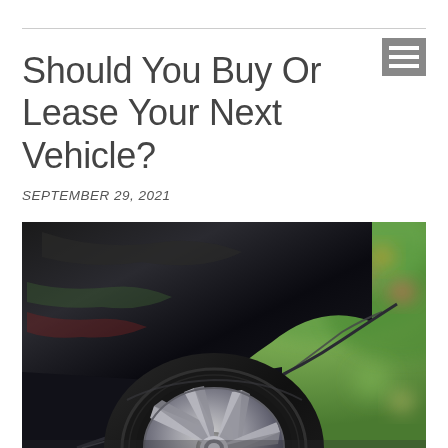Should You Buy Or Lease Your Next Vehicle?
SEPTEMBER 29, 2021
[Figure (photo): Close-up photograph of a black car's rear wheel well and alloy rim, with blurred green and red foliage in the background on a sunny day.]